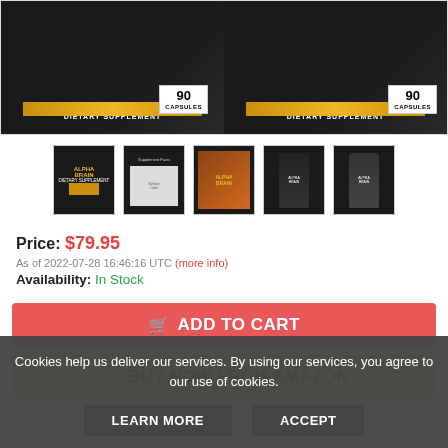[Figure (photo): Product image showing two dietary supplement packages with '90 CAPSULES' badge and gold band, side by side on dark background]
[Figure (photo): Five product thumbnail images in a row showing different views of the Alpha Brain dietary supplement]
Price: $79.95
As of 2022-07-28 16:46:16 UTC (more info)
Availability: In Stock
ADD TO CART
BUY NOW FROM AMAZON
Cookies help us deliver our services. By using our services, you agree to our use of cookies.
LEARN MORE
ACCEPT